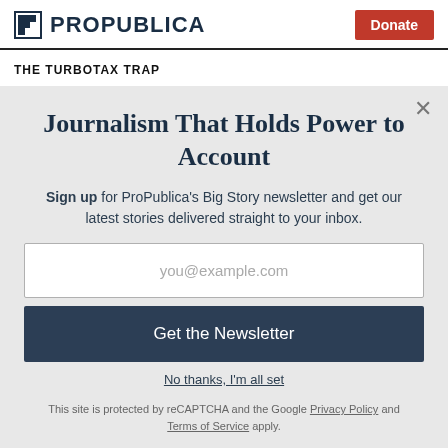ProPublica — Donate
THE TURBOTAX TRAP
Journalism That Holds Power to Account
Sign up for ProPublica's Big Story newsletter and get our latest stories delivered straight to your inbox.
you@example.com
Get the Newsletter
No thanks, I'm all set
This site is protected by reCAPTCHA and the Google Privacy Policy and Terms of Service apply.